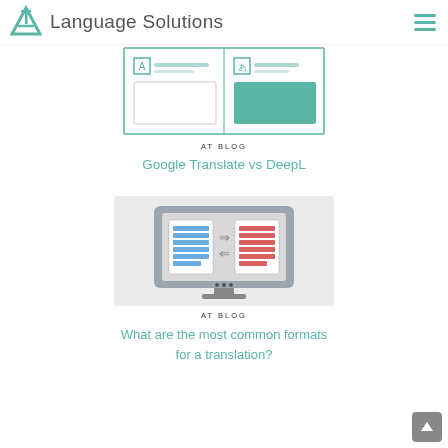AT Language Solutions
[Figure (illustration): Translation interface illustration showing two text boxes side by side with A and Japanese character icons, teal filled right box]
AT BLOG
Google Translate vs DeepL
[Figure (illustration): Monitor/computer screen icon showing two documents with arrows between them for translation, left document in blue, right in red]
AT BLOG
What are the most common formats for a translation?